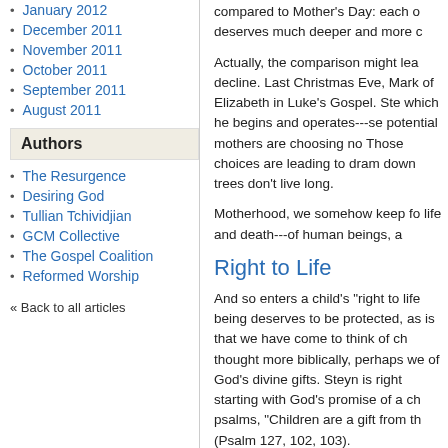January 2012
December 2011
November 2011
October 2011
September 2011
August 2011
Authors
The Resurgence
Desiring God
Tullian Tchividjian
GCM Collective
The Gospel Coalition
Reformed Worship
« Back to all articles
compared to Mother's Day: each o deserves much deeper and more c
Actually, the comparison might lea decline. Last Christmas Eve, Mark of Elizabeth in Luke's Gospel. Ste which he begins and operates---se potential mothers are choosing no Those choices are leading to dram down trees don't live long.
Motherhood, we somehow keep fo life and death---of human beings, a
Right to Life
And so enters a child's "right to lif being deserves to be protected, as is that we have come to think of ch thought more biblically, perhaps we of God's divine gifts. Steyn is right starting with God's promise of a ch psalms, "Children are a gift from th (Psalm 127, 102, 103).
Political systems do protect individ